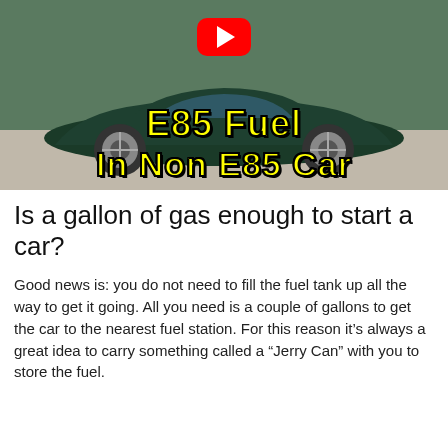[Figure (screenshot): YouTube video thumbnail showing a dark green Honda Civic coupe with yellow bold text 'E85 Fuel In Non E85 Car' and a red YouTube play button icon in the upper center.]
Is a gallon of gas enough to start a car?
Good news is: you do not need to fill the fuel tank up all the way to get it going. All you need is a couple of gallons to get the car to the nearest fuel station. For this reason it's always a great idea to carry something called a “Jerry Can” with you to store the fuel.